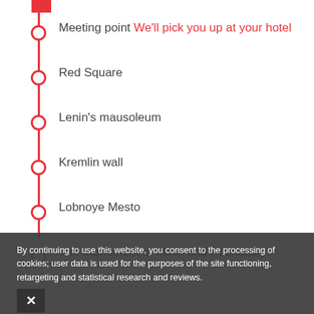Meeting point We'll pick you up at your hotel
Red Square
Lenin's mausoleum
Kremlin wall
Lobnoye Mesto
The monument to Minin and Pozharsky
Saint Basil's Cathedral
Aleksander Garden
End of the tour
By continuing to use this website, you consent to the processing of cookies; user data is used for the purposes of the site functioning, retargeting and statistical research and reviews.